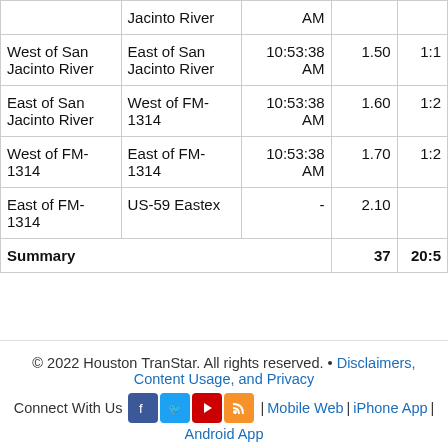| From | To | Time | Miles |  |
| --- | --- | --- | --- | --- |
|  | Jacinto River | AM |  |  |
| West of San Jacinto River | East of San Jacinto River | 10:53:38 AM | 1.50 | 1:1 |
| East of San Jacinto River | West of FM-1314 | 10:53:38 AM | 1.60 | 1:2 |
| West of FM-1314 | East of FM-1314 | 10:53:38 AM | 1.70 | 1:2 |
| East of FM-1314 | US-59 Eastex | - | 2.10 |  |
| Summary |  |  | 37 | 20:5 |
© 2022 Houston TranStar. All rights reserved. • Disclaimers, Content Usage, and Privacy
Connect With Us | Mobile Web | iPhone App | Android App